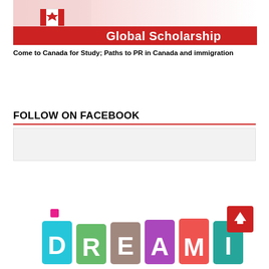[Figure (illustration): Banner image showing a person holding a Canadian flag with a red bar reading 'Global Scholarship']
Come to Canada for Study; Paths to PR in Canada and immigration
FOLLOW ON FACEBOOK
[Figure (screenshot): Facebook follow widget placeholder box with light grey background]
[Figure (illustration): Colorful 3D block letters spelling DREAM at the bottom of the page, with a pink dot above the D and a red back-to-top button in the bottom right corner]